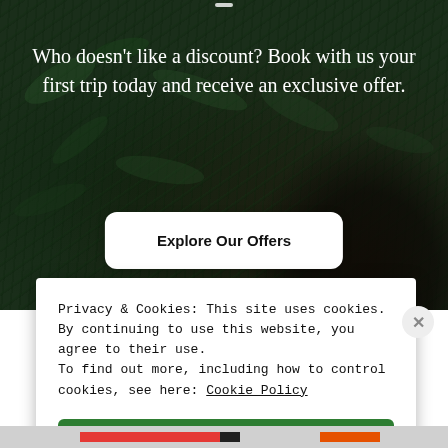[Figure (photo): Dark green foliage background with a dark-clothed figure visible in the lower right corner]
Who doesn't like a discount? Book with us your first trip today and receive an exclusive offer.
Explore Our Offers
Privacy & Cookies: This site uses cookies. By continuing to use this website, you agree to their use. To find out more, including how to control cookies, see here: Cookie Policy
Close and accept